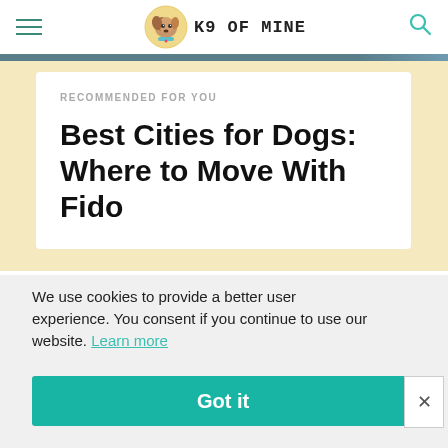K9 OF MINE
RECOMMENDED FOR YOU
Best Cities for Dogs: Where to Move With Fido
We use cookies to provide a better user experience. You consent if you continue to use our website. Learn more
Got it